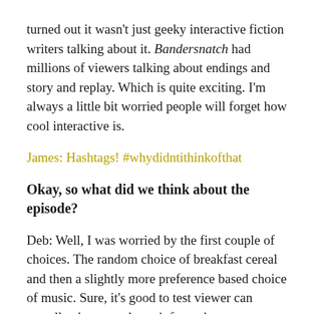turned out it wasn't just geeky interactive fiction writers talking about it. Bandersnatch had millions of viewers talking about endings and story and replay. Which is quite exciting. I'm always a little bit worried people will forget how cool interactive is.
James: Hashtags! #whydidntithinkofthat
Okay, so what did we think about the episode?
Deb: Well, I was worried by the first couple of choices. The random choice of breakfast cereal and then a slightly more preference based choice of music. Sure, it's good to test viewer can actually choose and to reinforce that